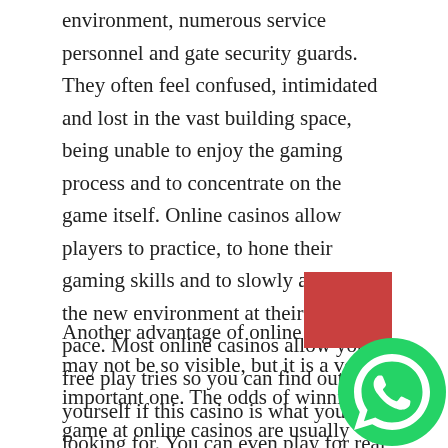environment, numerous service personnel and gate security guards. They often feel confused, intimidated and lost in the vast building space, being unable to enjoy the gaming process and to concentrate on the game itself. Online casinos allow players to practice, to hone their gaming skills and to slowly adapt to the new environment at their own pace. Most online casinos allow you free play tries so you can find out for yourself if this casino is what you are looking for. You can even play for real money without the risk to lose your savings by using no deposit bonuses offered by some online casinos as incentives for new players.
Another advantage of online casinos may not be so visible, but it is a very important one. The odds of winning a game at online casinos are usually slightly higher than at land based casinos. Due to lower
[Figure (other): Red rectangle overlay and WhatsApp icon (green circle with phone handset) in the bottom-right corner of the page.]